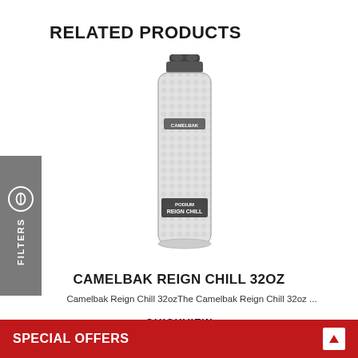RELATED PRODUCTS
[Figure (photo): CamelBak Reign Chill 32oz water bottle with white/silver hexagon pattern and black cap]
CAMELBAK REIGN CHILL 32OZ
Camelbak Reign Chill 32ozThe Camelbak Reign Chill 32oz ...
QUICKVIEW
[Figure (photo): Top of next product partially visible at bottom of page]
SPECIAL OFFERS